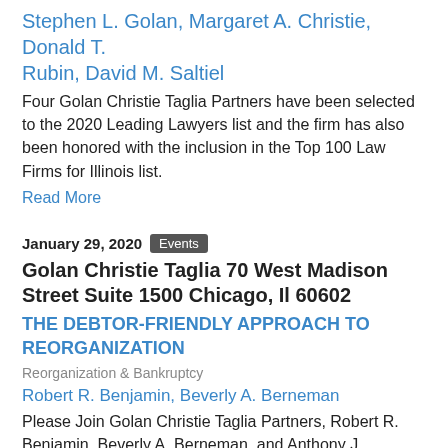Stephen L. Golan, Margaret A. Christie, Donald T. Rubin, David M. Saltiel
Four Golan Christie Taglia Partners have been selected to the 2020 Leading Lawyers list and the firm has also been honored with the inclusion in the Top 100 Law Firms for Illinois list.
Read More
January 29, 2020 Events
Golan Christie Taglia 70 West Madison Street Suite 1500 Chicago, Il 60602
THE DEBTOR-FRIENDLY APPROACH TO REORGANIZATION
Reorganization & Bankruptcy
Robert R. Benjamin, Beverly A. Berneman
Please Join Golan Christie Taglia Partners, Robert R. Benjamin, Beverly A. Berneman, and Anthony J. Dian...